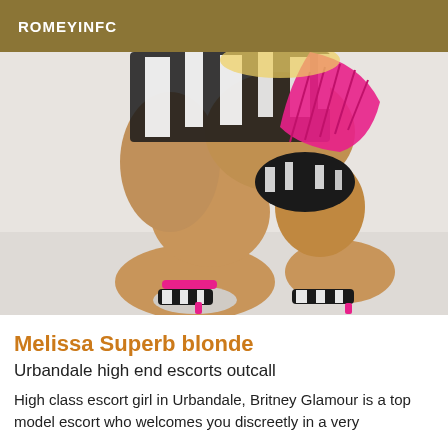ROMEYINFC
[Figure (photo): A woman in a zebra-print and pink outfit crouching, wearing pink and zebra-print high heels, photographed from behind/side against a light background.]
Melissa Superb blonde
Urbandale high end escorts outcall
High class escort girl in Urbandale, Britney Glamour is a top model escort who welcomes you discreetly in a very